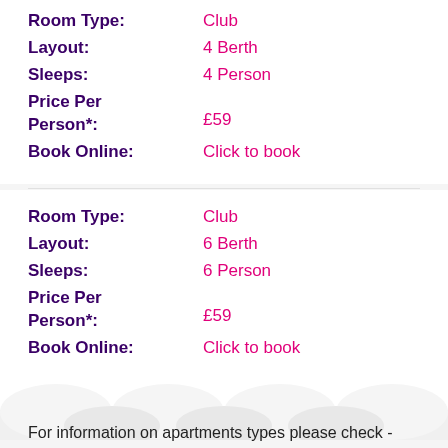Room Type: Club
Layout: 4 Berth
Sleeps: 4 Person
Price Per Person*: £59
Book Online: Click to book
Room Type: Club
Layout: 6 Berth
Sleeps: 6 Person
Price Per Person*: £59
Book Online: Click to book
For information on apartments types please check -